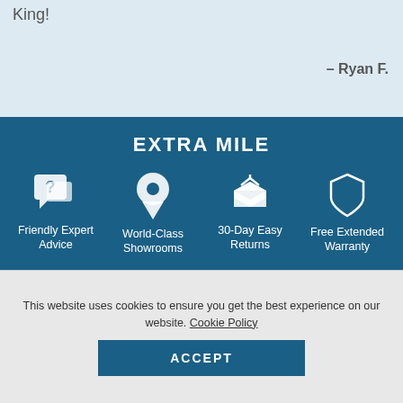King!
– Ryan F.
EXTRA MILE
Friendly Expert Advice
World-Class Showrooms
30-Day Easy Returns
Free Extended Warranty
CONTACT US ▼
ACCOUNT ▼
This website uses cookies to ensure you get the best experience on our website. Cookie Policy
ACCEPT